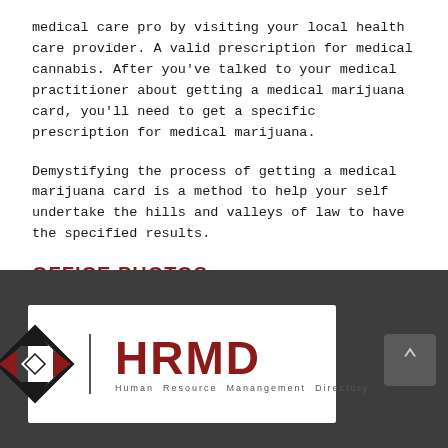medical care pro by visiting your local health care provider. A valid prescription for medical cannabis. After you've talked to your medical practitioner about getting a medical marijuana card, you'll need to get a specific prescription for medical marijuana.
Demystifying the process of getting a medical marijuana card is a method to help your self undertake the hills and valleys of law to have the specified results.
OFFICE PHOTOS
[Figure (logo): HRMD - Human Resource Manangement Directory logo with geometric diamond shape icon in dark red and black]